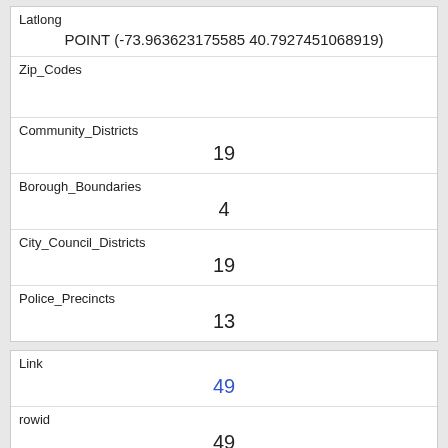| Latlong | POINT (-73.963623175585 40.7927451068919) |
| Zip_Codes |  |
| Community_Districts | 19 |
| Borough_Boundaries | 4 |
| City_Council_Districts | 19 |
| Police_Precincts | 13 |
| Link | 49 |
| rowid | 49 |
| Longitude | -73.971213385696 |
| Latitude |  |